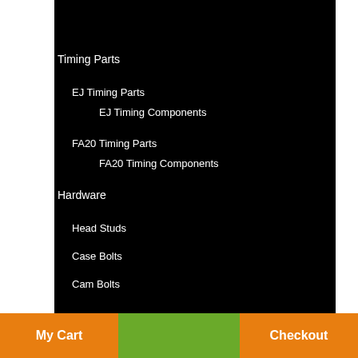Timing Parts
EJ Timing Parts
EJ Timing Components
FA20 Timing Parts
FA20 Timing Components
Hardware
Head Studs
Case Bolts
Cam Bolts
My Cart    Checkout